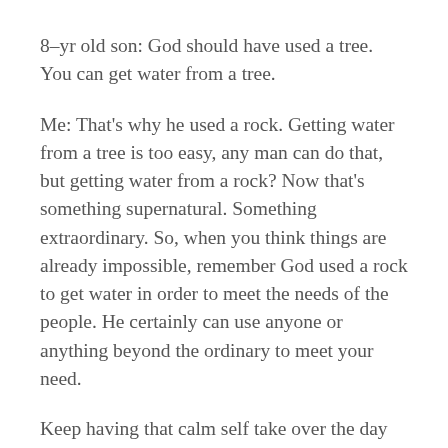8–yr old son: God should have used a tree. You can get water from a tree.
Me: That's why he used a rock. Getting water from a tree is too easy, any man can do that, but getting water from a rock? Now that's something supernatural. Something extraordinary. So, when you think things are already impossible, remember God used a rock to get water in order to meet the needs of the people. He certainly can use anyone or anything beyond the ordinary to meet your need.
Keep having that calm self take over the day instead of worrying knowing that the God who provided for his people is the same God who will provide for our needs. Keep looking back at how he has provided and has moved in our lives in the past, those are